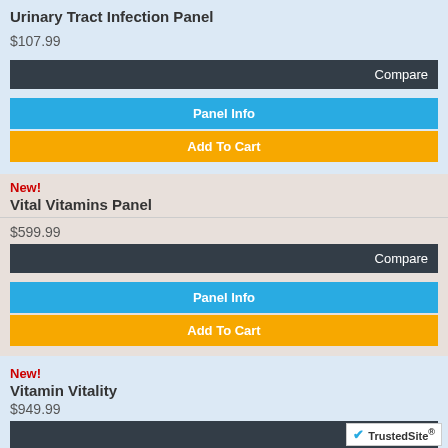Urinary Tract Infection Panel
$107.99
Compare
Panel Info
Add To Cart
New!
Vital Vitamins Panel
$599.99
Compare
Panel Info
Add To Cart
New!
Vitamin Vitality
$949.99
Compare
Panel Info
TrustedSite®